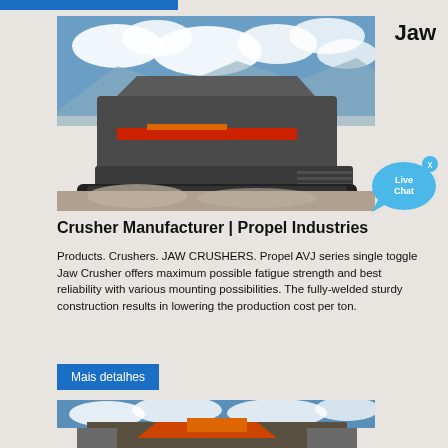[Figure (photo): Blue horizontal bar at the top left of the page]
Jaw
[Figure (photo): Large industrial jaw crusher machine in operation outdoors with mountains and clouds in background]
[Figure (illustration): Live Chat speech bubble icon in blue with 'Live Chat' text and an X close button]
Crusher Manufacturer | Propel Industries
Products. Crushers. JAW CRUSHERS. Propel AVJ series single toggle Jaw Crusher offers maximum possible fatigue strength and best reliability with various mounting possibilities. The fully-welded sturdy construction results in lowering the production cost per ton.
Mais detalhes
[Figure (photo): Second industrial crusher machine image partially visible at the bottom of the page, outdoor quarry setting with blue sky]